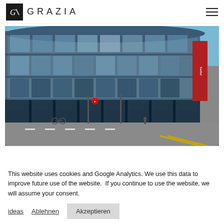GRAZIA
[Figure (photo): Street-level photo of a large modern glass-facade commercial building at a city intersection, with road markings, traffic signs, bicycles, a pedestrian, and a red banner on the right side. The building facade reflects surrounding architecture. Empty wide road in foreground with yellow diagonal road marking.]
This website uses cookies and Google Analytics. We use this data to improve future use of the website.  If you continue to use the website, we will assume your consent.
ideas   Ablehnen   Akzeptieren